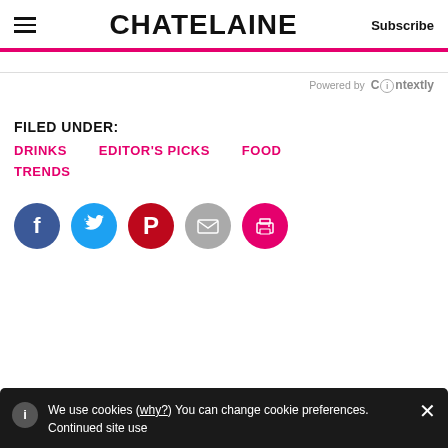CHATELAINE | Subscribe
Powered by Contextly
FILED UNDER:
DRINKS
EDITOR'S PICKS
FOOD
TRENDS
[Figure (infographic): Social sharing icon buttons: Facebook (blue circle), Twitter (light blue circle), Pinterest (red circle), Email (grey circle), Print (pink circle)]
We use cookies (why?) You can change cookie preferences. Continued site use